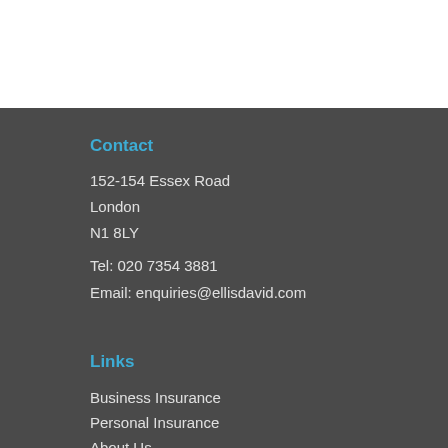Contact
152-154 Essex Road
London
N1 8LY
Tel: 020 7354 3881
Email: enquiries@ellisdavid.com
Links
Business Insurance
Personal Insurance
About Us
Online Quote
Claims
Contact